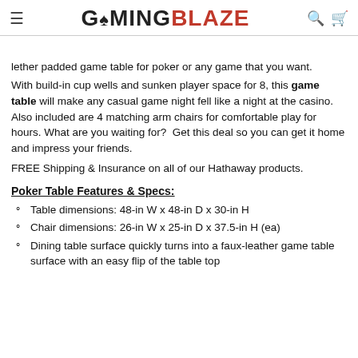GAMINGBLAZE
lether padded game table for poker or any game that you want.
With build-in cup wells and sunken player space for 8, this game table will make any casual game night fell like a night at the casino. Also included are 4 matching arm chairs for comfortable play for hours. What are you waiting for?  Get this deal so you can get it home and impress your friends.
FREE Shipping & Insurance on all of our Hathaway products.
Poker Table Features & Specs:
Table dimensions: 48-in W x 48-in D x 30-in H
Chair dimensions: 26-in W x 25-in D x 37.5-in H (ea)
Dining table surface quickly turns into a faux-leather game table surface with an easy flip of the table top